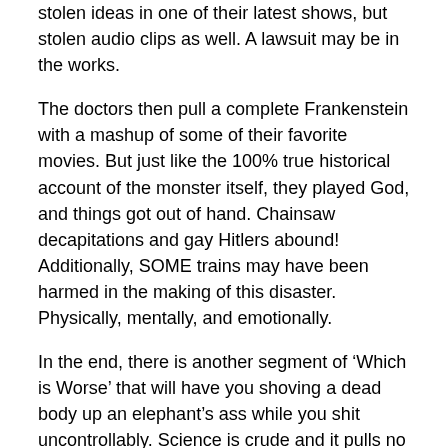stolen ideas in one of their latest shows, but stolen audio clips as well. A lawsuit may be in the works.
The doctors then pull a complete Frankenstein with a mashup of some of their favorite movies. But just like the 100% true historical account of the monster itself, they played God, and things got out of hand. Chainsaw decapitations and gay Hitlers abound! Additionally, SOME trains may have been harmed in the making of this disaster. Physically, mentally, and emotionally.
In the end, there is another segment of ‘Which is Worse’ that will have you shoving a dead body up an elephant’s ass while you shit uncontrollably. Science is crude and it pulls no punches. Don’t fuck a monkey or a gorilla.
“Theme for Harold (var. 3)” and other songs by Kevin MacLeod (incompetech.com)
Licensed under Creative Commons: By Attribution 3.0